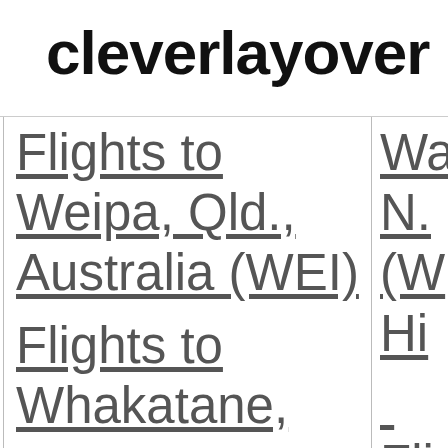cleverlayover
Flights to Weipa, Qld., Australia (WEI)
Wa N. (W Hi
Flights to Whakatane,
Fli